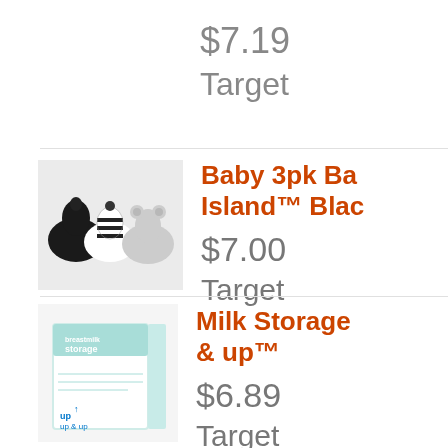$7.19
Target
Baby 3pk Ba... Island™ Blac...
$7.00
Target
[Figure (photo): Three baby knit hats on gray background: black knotted hat, black and white striped hat, and gray bear ear hat]
Milk Storage... & up™
$6.89
Target
[Figure (photo): Box of breastmilk storage bags with teal/mint color scheme and up & up brand logo]